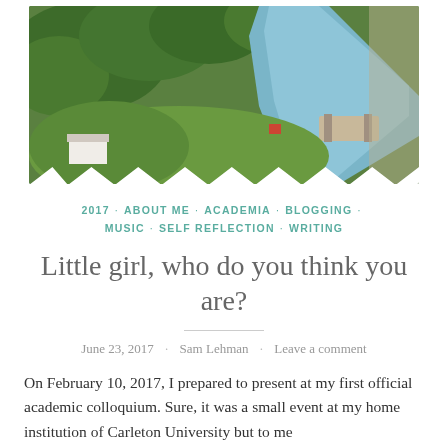[Figure (photo): Aerial photograph of a river or canal with lock system, surrounded by green trees and meadows, with a white building visible in the lower left]
2017 · ABOUT ME · ACADEMIA · BLOGGING · MUSIC · SELF REFLECTION · WRITING
Little girl, who do you think you are?
June 23, 2017 · Sam Lehman · Leave a comment
On February 10, 2017, I prepared to present at my first official academic colloquium. Sure, it was a small event at my home institution of Carleton University but to me